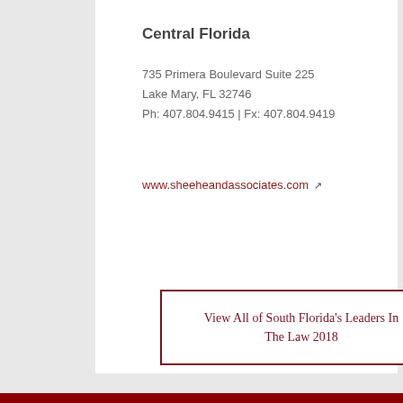Central Florida
735 Primera Boulevard Suite 225
Lake Mary, FL 32746
Ph: 407.804.9415 | Fx: 407.804.9419
www.sheeheandassociates.com
View All of South Florida's Leaders In The Law 2018